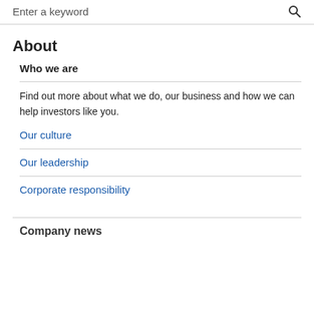Enter a keyword
About
Who we are
Find out more about what we do, our business and how we can help investors like you.
Our culture
Our leadership
Corporate responsibility
Company news